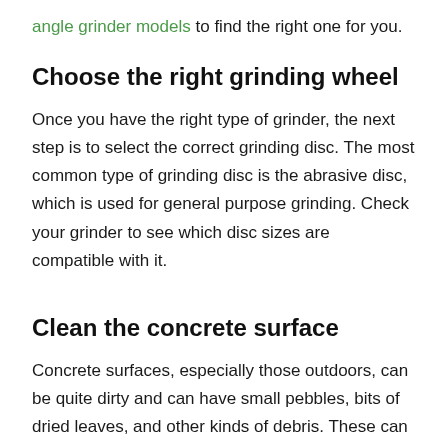angle grinder models to find the right one for you.
Choose the right grinding wheel
Once you have the right type of grinder, the next step is to select the correct grinding disc. The most common type of grinding disc is the abrasive disc, which is used for general purpose grinding. Check your grinder to see which disc sizes are compatible with it.
Clean the concrete surface
Concrete surfaces, especially those outdoors, can be quite dirty and can have small pebbles, bits of dried leaves, and other kinds of debris. These can affect how well your grinder will work. Thus, make sure to thoroughly sweep up the